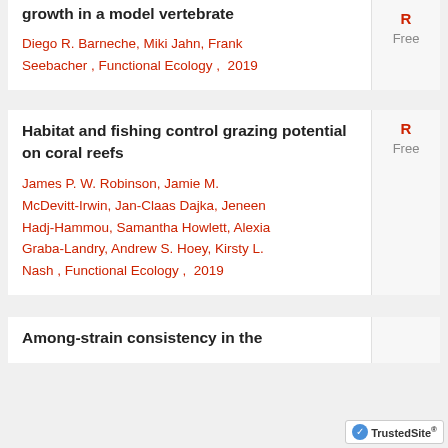growth in a model vertebrate — Diego R. Barneche, Miki Jahn, Frank Seebacher , Functional Ecology ,  2019
R Free
Habitat and fishing control grazing potential on coral reefs
James P. W. Robinson, Jamie M. McDevitt-Irwin, Jan-Claas Dajka, Jeneen Hadj-Hammou, Samantha Howlett, Alexia Graba-Landry, Andrew S. Hoey, Kirsty L. Nash , Functional Ecology ,  2019
R Free
Among-strain consistency in the